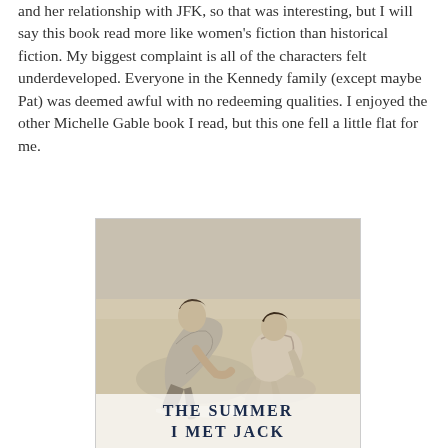and her relationship with JFK, so that was interesting, but I will say this book read more like women's fiction than historical fiction. My biggest complaint is all of the characters felt underdeveloped. Everyone in the Kennedy family (except maybe Pat) was deemed awful with no redeeming qualities. I enjoyed the other Michelle Gable book I read, but this one fell a little flat for me.
[Figure (photo): Book cover of 'The Summer I Met Jack' showing a black and white photograph of a man and woman sitting on a beach. The man is sitting with his arm around the woman. Below the photograph, the title reads 'THE SUMMER I MET JACK' in dark navy serif letters.]